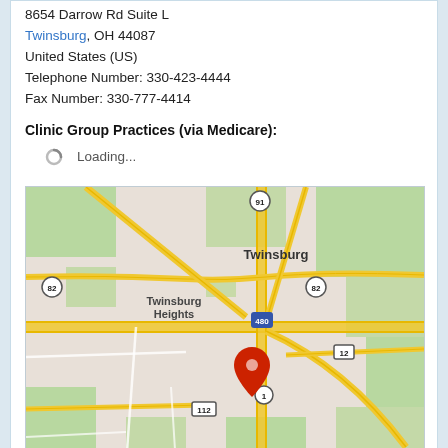8654 Darrow Rd Suite L
Twinsburg, OH 44087
United States (US)
Telephone Number: 330-423-4444
Fax Number: 330-777-4414
Clinic Group Practices (via Medicare):
Loading...
[Figure (map): Google Maps screenshot showing Twinsburg, Ohio area with roads including I-480, Route 82, Route 91, Route 12, and Route 112. Twinsburg and Twinsburg Heights labeled. A red location pin marker placed south of the city center near Route 1.]